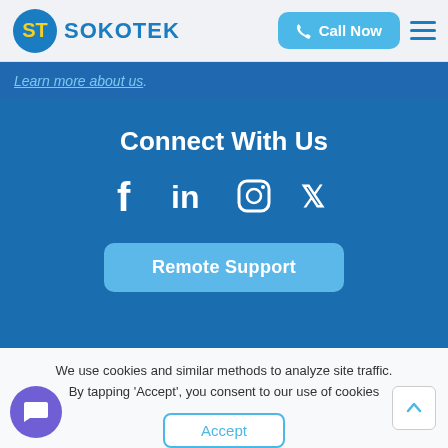[Figure (logo): Sokotek logo with circular ST icon and SOKOTEK text in blue]
Learn more about us.
Connect With Us
[Figure (infographic): Social media icons: Facebook, LinkedIn, Instagram, Twitter]
Remote Support
We use cookies and similar methods to analyze site traffic. By tapping 'Accept', you consent to our use of cookies
Accept